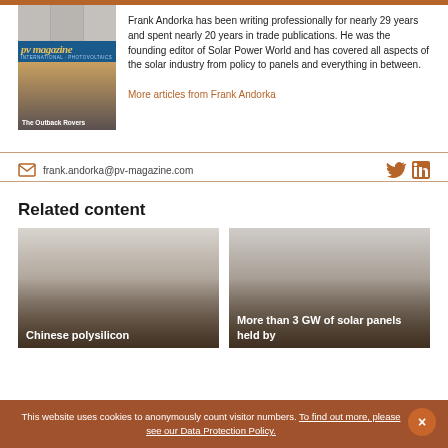[Figure (photo): PV Magazine cover with solar panels image]
Frank Andorka has been writing professionally for nearly 29 years and spent nearly 20 years in trade publications. He was the founding editor of Solar Power World and has covered all aspects of the solar industry from policy to panels and everything in between.
More articles from Frank Andorka
frank.andorka@pv-magazine.com
[Figure (logo): Twitter bird icon]
[Figure (logo): LinkedIn icon]
Related content
[Figure (photo): Related article card: Chinese polysilicon]
[Figure (photo): Related article card: More than 3 GW of solar panels held by]
This website uses cookies to anonymously count visitor numbers. To find out more, please see our Data Protection Policy.